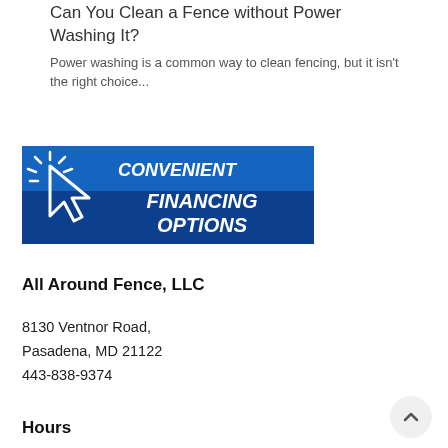Can You Clean a Fence without Power Washing It?
Power washing is a common way to clean fencing, but it isn't the right choice...
[Figure (illustration): Blue banner advertisement with cursor/arrow icon and text 'CONVENIENT FINANCING OPTIONS']
All Around Fence, LLC
8130 Ventnor Road,
Pasadena, MD 21122
443-838-9374
Hours